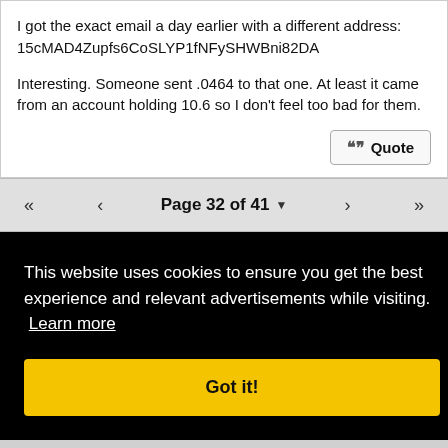I got the exact email a day earlier with a different address: 15cMAD4Zupfs6CoSLYP1fNFySHWBni82DA

Interesting. Someone sent .0464 to that one. At least it came from an account holding 10.6 so I don't feel too bad for them.
Page 32 of 41
This website uses cookies to ensure you get the best experience and relevant advertisements while visiting. Learn more
Got it!